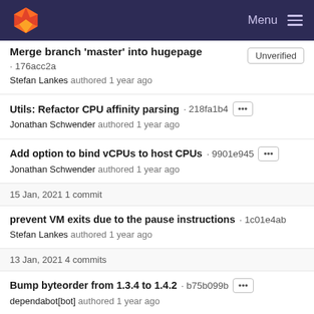Menu
Merge branch 'master' into hugepage · 176acc2a
Stefan Lankes authored 1 year ago
Unverified
Utils: Refactor CPU affinity parsing · 218fa1b4
Jonathan Schwender authored 1 year ago
Add option to bind vCPUs to host CPUs · 9901e945
Jonathan Schwender authored 1 year ago
15 Jan, 2021 1 commit
prevent VM exits due to the pause instructions · 1c01e4ab
Stefan Lankes authored 1 year ago
13 Jan, 2021 4 commits
Bump byteorder from 1.3.4 to 1.4.2 · b75b099b
dependabot[bot] authored 1 year ago
Bump libc from 0.2.81 to 0.2.82 · aa563a1a